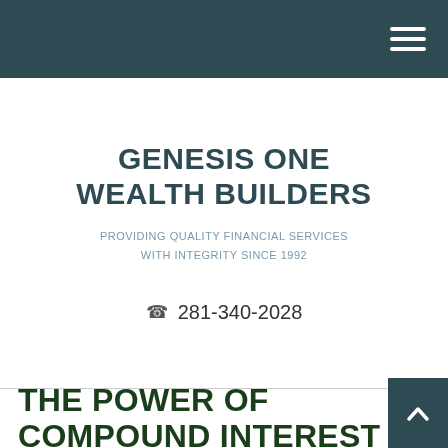Navigation bar with hamburger menu
GENESIS ONE WEALTH BUILDERS
PROVIDING QUALITY FINANCIAL SERVICES WITH INTEGRITY SINCE 1992
☎ 281-340-2028
THE POWER OF COMPOUND INTEREST